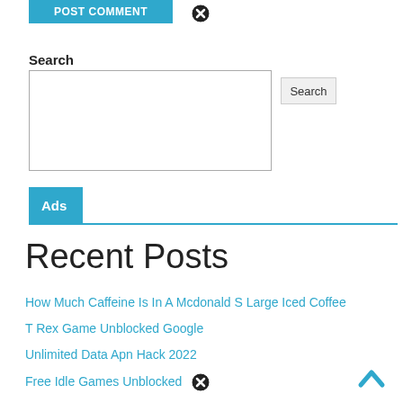[Figure (screenshot): Blue 'Post Comment' button (partially visible, cropped at top)]
[Figure (other): Close/cancel icon (circled X) at top right area]
Search
[Figure (other): Search input text box (empty) with a Search button]
Ads
Recent Posts
How Much Caffeine Is In A Mcdonald S Large Iced Coffee
T Rex Game Unblocked Google
Unlimited Data Apn Hack 2022
Free Idle Games Unblocked
[Figure (other): Close/cancel icon (circled X) bottom area]
[Figure (other): Scroll-to-top chevron arrow button at bottom right]